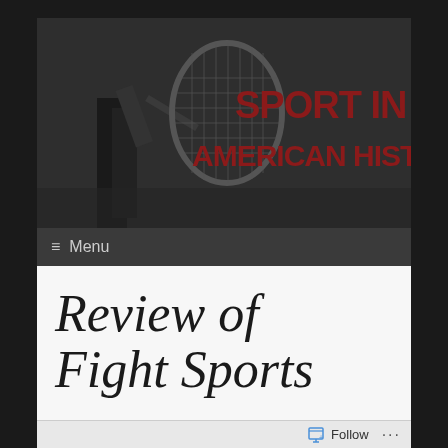[Figure (photo): Black and white banner photo of a person holding a tennis racket, with bold dark red text overlaid reading 'SPORT IN AMERICAN HISTORY']
≡ Menu
Review of Fight Sports
Follow ...